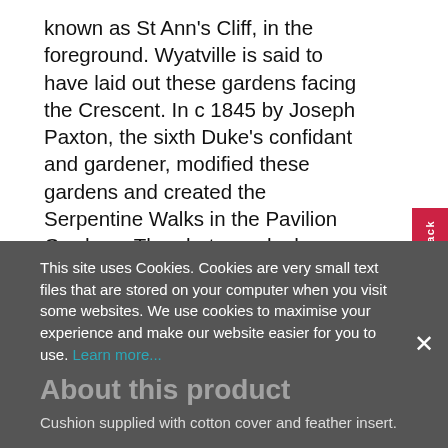known as St Ann's Cliff, in the foreground. Wyatville is said to have laid out these gardens facing the Crescent. In c 1845 by Joseph Paxton, the sixth Duke's confidant and gardener, modified these gardens and created the Serpentine Walks in the Pavilion Gardens. The photograph shows The Crescent, the Devonshire Royal Hospital, and...
Read more
Help us to improve our records
If you can improve our knowledge about this image we'd be happy to hear from you. Please contact us here
This site uses Cookies. Cookies are very small text files that are stored on your computer when you visit some websites. We use cookies to maximise your experience and make our website easier for you to use. Learn more...
About this product
Cushion supplied with cotton cover and feather insert.